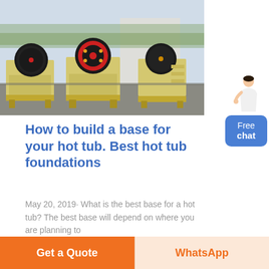[Figure (photo): Outdoor photograph showing multiple yellow jaw crusher machines lined up in a factory yard or industrial area. The machines have large black rubber-edged flywheels with red centers and yellow steel frames.]
[Figure (illustration): Customer service representative figure (woman in white) next to a blue rounded rectangle button labeled 'Free chat']
How to build a base for your hot tub. Best hot tub foundations
May 20, 2019· What is the best base for a hot tub? The best base will depend on where you are planning to
Get a Quote
WhatsApp